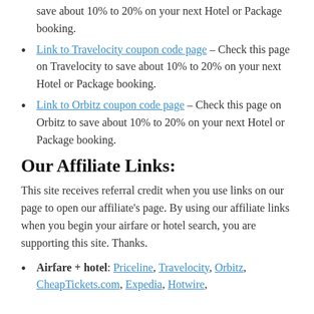save about 10% to 20% on your next Hotel or Package booking.
Link to Travelocity coupon code page – Check this page on Travelocity to save about 10% to 20% on your next Hotel or Package booking.
Link to Orbitz coupon code page – Check this page on Orbitz to save about 10% to 20% on your next Hotel or Package booking.
Our Affiliate Links:
This site receives referral credit when you use links on our page to open our affiliate's page. By using our affiliate links when you begin your airfare or hotel search, you are supporting this site. Thanks.
Airfare + hotel: Priceline, Travelocity, Orbitz, CheapTickets.com, Expedia, Hotwire,